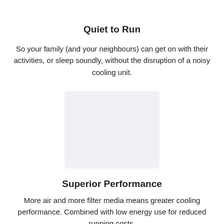Quiet to Run
So your family (and your neighbours) can get on with their activities, or sleep soundly, without the disruption of a noisy cooling unit.
[Figure (other): Placeholder image area, light gray rounded rectangle]
Superior Performance
More air and more filter media means greater cooling performance. Combined with low energy use for reduced running costs.